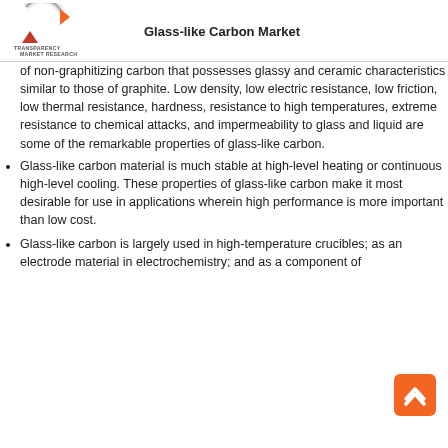Glass-like Carbon Market
of non-graphitizing carbon that possesses glassy and ceramic characteristics similar to those of graphite. Low density, low electric resistance, low friction, low thermal resistance, hardness, resistance to high temperatures, extreme resistance to chemical attacks, and impermeability to glass and liquid are some of the remarkable properties of glass-like carbon.
Glass-like carbon material is much stable at high-level heating or continuous high-level cooling. These properties of glass-like carbon make it most desirable for use in applications wherein high performance is more important than low cost.
Glass-like carbon is largely used in high-temperature crucibles; as an electrode material in electrochemistry; and as a component of